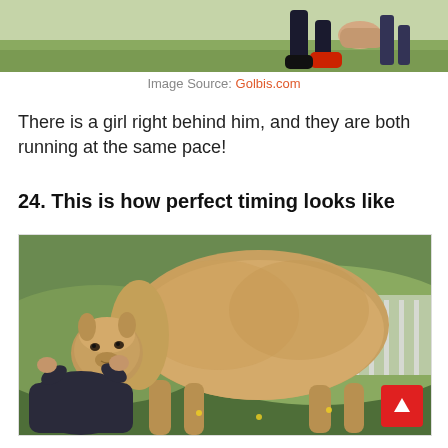[Figure (photo): Top partial photo showing runners' legs on grass, person in black shoes visible]
Image Source: Golbis.com
There is a girl right behind him, and they are both running at the same pace!
24. This is how perfect timing looks like
[Figure (photo): Photo of an alpaca with fluffy brown body standing over a person crouching, the alpaca's head appears to merge with the person's head creating a funny optical illusion]